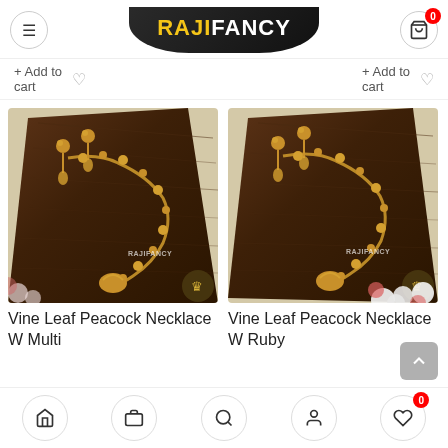RAJIFANCY
+ Add to cart
+ Add to cart
[Figure (photo): Vine Leaf Peacock Necklace W Multi - gold floral necklace set on dark wood display with white fabric background, watermarked RAJIFANCY]
[Figure (photo): Vine Leaf Peacock Necklace W Ruby - gold floral necklace set on dark wood display with white fabric background and flowers, watermarked RAJIFANCY]
Vine Leaf Peacock Necklace W Multi
Vine Leaf Peacock Necklace W Ruby
Home | Shop | Search | Account | Wishlist (0)